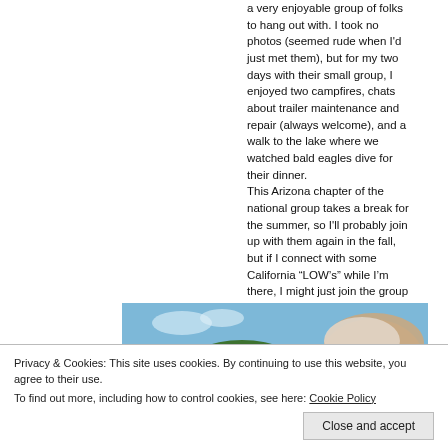a very enjoyable group of folks to hang out with. I took no photos (seemed rude when I'd just met them), but for my two days with their small group, I enjoyed two campfires, chats about trailer maintenance and repair (always welcome), and a walk to the lake where we watched bald eagles dive for their dinner. This Arizona chapter of the national group takes a break for the summer, so I'll probably join up with them again in the fall, but if I connect with some California “LOW’s” while I’m there, I might just join the group sooner. We'll see. (Most full-time RV'ers join a number of groups for the camaraderie and the wide range of information that's shared.) Before pulling away, I took a 4-mile solo bike ride to “The Rim” (Mogollon Rim) – my first time on my own bike, I’m sorry to say, in a couple of years, and I’m super happy to have gotten back on wheels again. And The Rim, of course, is spectacular.
[Figure (photo): Photo showing blue sky with trees and a person's head visible at the right side]
Privacy & Cookies: This site uses cookies. By continuing to use this website, you agree to their use.
To find out more, including how to control cookies, see here: Cookie Policy